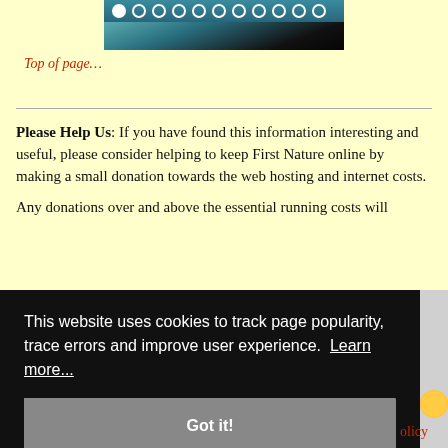[Figure (photo): Partial image of a person on water with circular dot navigation indicators at the top]
Top of page…
Please Help Us: If you have found this information interesting and useful, please consider helping to keep First Nature online by making a small donation towards the web hosting and internet costs.
Any donations over and above the essential running costs will [partially obscured] s Trust [partially obscured] nd
This website uses cookies to track page popularity, trace errors and improve user experience. Learn more...
Got it!
olicy